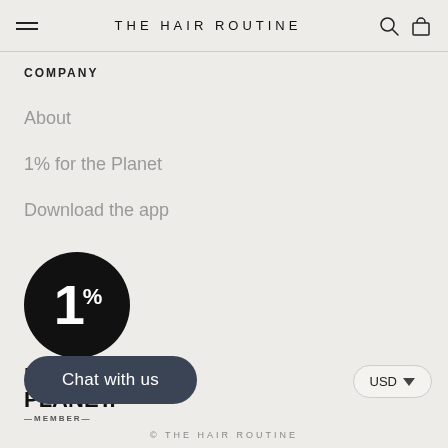THE HAIR ROUTINE
COMPANY
About
1% for the Planet
Download the app
[Figure (logo): 1% for the Planet member logo — black circle with white '1%' numeral, bold text 'FOR THE PLANET.' below, '—MEMBER—' caption beneath]
Chat with us
USD
© THE HAIR ROUTINE